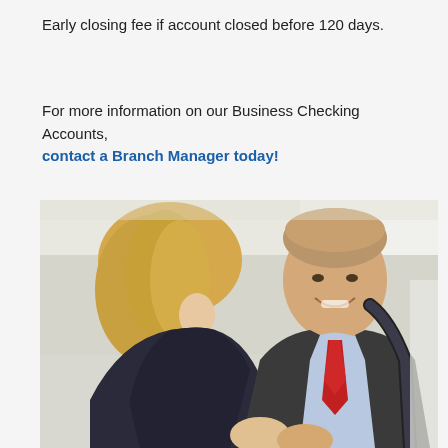Early closing fee if account closed before 120 days.
For more information on our Business Checking Accounts, contact a Branch Manager today!
[Figure (photo): Two business professionals greeting each other — a woman with blonde hair seen from behind on the left and a smiling man in a suit with a red tie holding a bag strap on the right, in a bright office setting.]